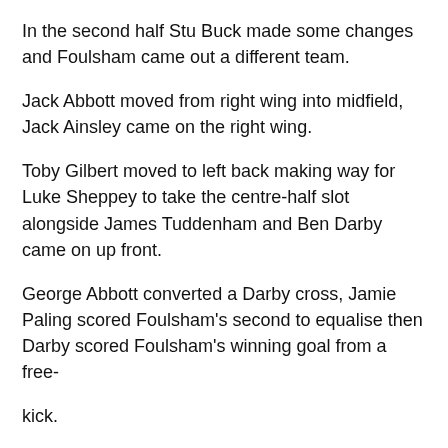In the second half Stu Buck made some changes and Foulsham came out a different team.
Jack Abbott moved from right wing into midfield, Jack Ainsley came on the right wing.
Toby Gilbert moved to left back making way for Luke Sheppey to take the centre-half slot alongside James Tuddenham and Ben Darby came on up front.
George Abbott converted a Darby cross, Jamie Paling scored Foulsham's second to equalise then Darby scored Foulsham's winning goal from a free-

kick.